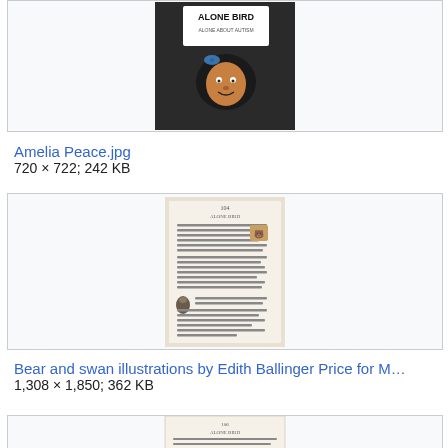[Figure (photo): Thumbnail of Alone Bird book cover image (Amelia Peace.jpg), partially visible at top of page]
Amelia Peace.jpg
720 × 722; 242 KB
[Figure (photo): Thumbnail of a book page with text and small bear/swan illustrations by Edith Ballinger Price]
Bear and swan illustrations by Edith Ballinger Price for M…
1,308 × 1,850; 362 KB
[Figure (photo): Thumbnail of another book page with text and illustrations, partially visible at bottom of page]